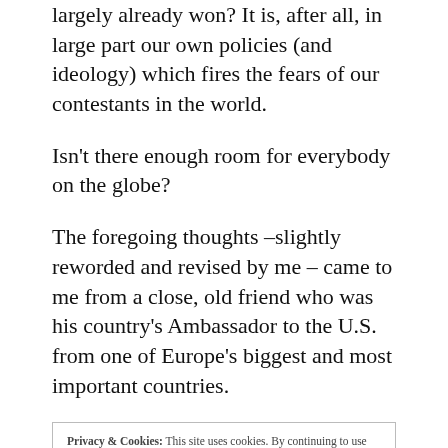largely already won? It is, after all, in large part our own policies (and ideology) which fires the fears of our contestants in the world.
Isn't there enough room for everybody on the globe?
The foregoing thoughts –slightly reworded and revised by me – came to me from a close, old friend who was his country's Ambassador to the U.S. from one of Europe's biggest and most important countries.
Privacy & Cookies: This site uses cookies. By continuing to use this website, you agree to their use. To find out more, including how to control cookies, see here: Cookie Policy
I was/am struck by the wisdom and practicality